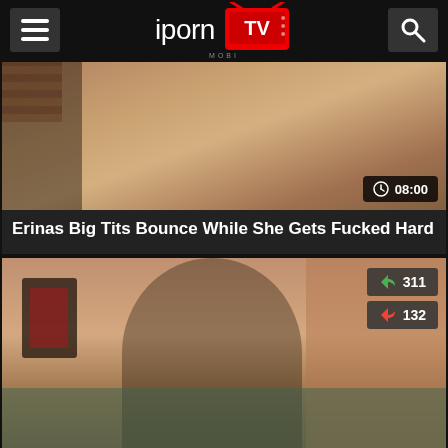iporn MOBI TV
[Figure (screenshot): Video thumbnail showing adult content, duration badge 08:00]
Erinas Big Tits Bounce While She Gets Fucked Hard
[Figure (screenshot): Video thumbnail showing adult content, like count 311, dislike count 132]